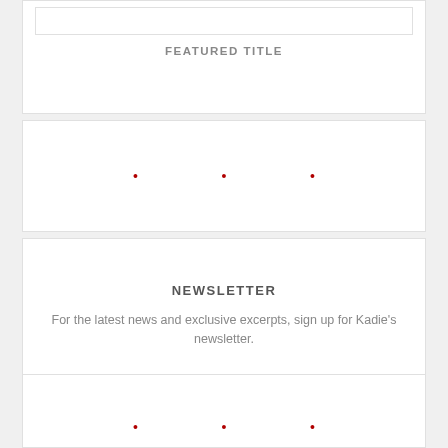[Figure (other): White box placeholder image area at top]
FEATURED TITLE
• • •
NEWSLETTER
For the latest news and exclusive excerpts, sign up for Kadie's newsletter.
SUBSCRIBE
• • •